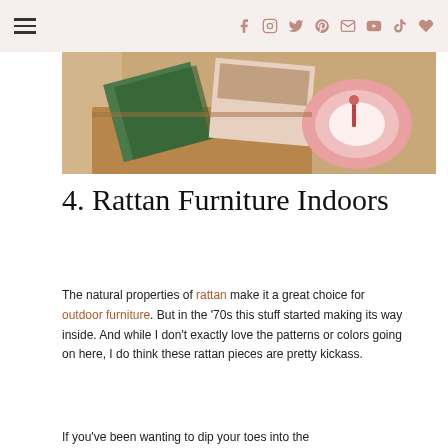Navigation and social icons header
[Figure (photo): Photo of rattan furniture indoors with colorful patterns, a pink plate, and bohemian decor on a table]
4. Rattan Furniture Indoors
The natural properties of rattan make it a great choice for outdoor furniture. But in the '70s this stuff started making its way inside. And while I don't exactly love the patterns or colors going on here, I do think these rattan pieces are pretty kickass.
If you've been wanting to dip your toes into the